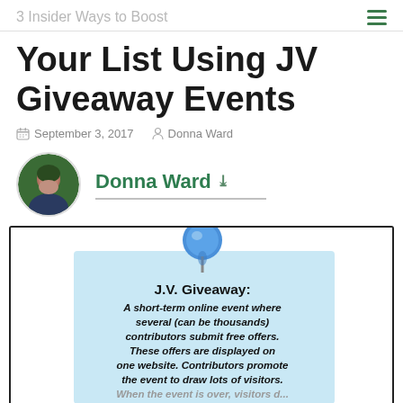3 Insider Ways to Boost
Your List Using JV Giveaway Events
September 3, 2017  Donna Ward
Donna Ward
[Figure (illustration): A sticky note with a blue pushpin. The note reads: J.V. Giveaway: A short-term online event where several (can be thousands) contributors submit free offers. These offers are displayed on one website. Contributors promote the event to draw lots of visitors.]